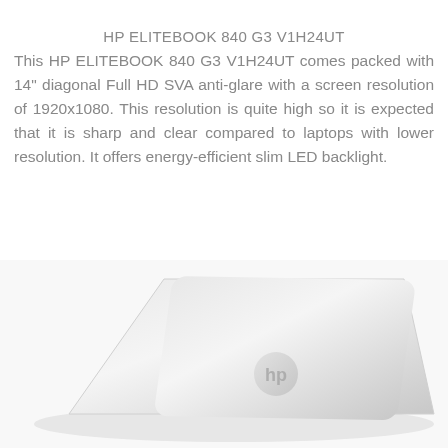HP ELITEBOOK 840 G3 V1H24UT
This HP ELITEBOOK 840 G3 V1H24UT comes packed with 14" diagonal Full HD SVA anti-glare with a screen resolution of 1920x1080. This resolution is quite high so it is expected that it is sharp and clear compared to laptops with lower resolution. It offers energy-efficient slim LED backlight.
[Figure (photo): Photo of the back of an HP EliteBook 840 G3 laptop, showing the silver/aluminum lid with the HP logo in the center, viewed from a slightly elevated angle.]